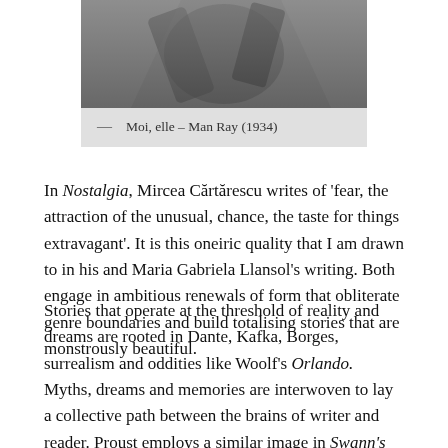[Figure (photo): Black and white photograph partially visible at top of page, showing abstract or close-up subject matter. Caption: Moi, elle – Man Ray (1934)]
— Moi, elle – Man Ray (1934)
In Nostalgia, Mircea Cărtărescu writes of 'fear, the attraction of the unusual, chance, the taste for things extravagant'. It is this oneiric quality that I am drawn to in his and Maria Gabriela Llansol's writing. Both engage in ambitious renewals of form that obliterate genre boundaries and build totalising stories that are monstrously beautiful.
Stories that operate at the threshold of reality and dreams are rooted in Dante, Kafka, Borges, surrealism and oddities like Woolf's Orlando. Myths, dreams and memories are interwoven to lay a collective path between the brains of writer and reader. Proust employs a similar image in Swann's Way: 'All these memories . . . I could not discern